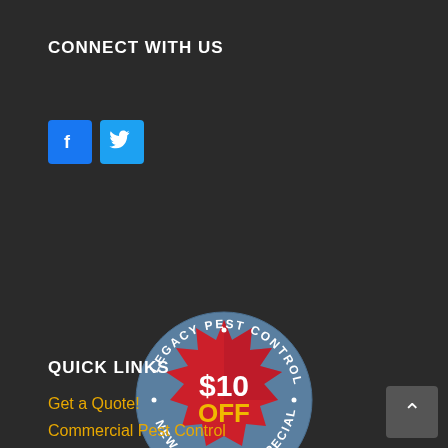CONNECT WITH US
[Figure (infographic): Facebook and Twitter social media icon buttons]
[Figure (infographic): Legacy Pest Control circular badge with $10 OFF New Customer Special text on a blue/red starburst design]
QUICK LINKS
Get a Quote!
Commercial Pest Control